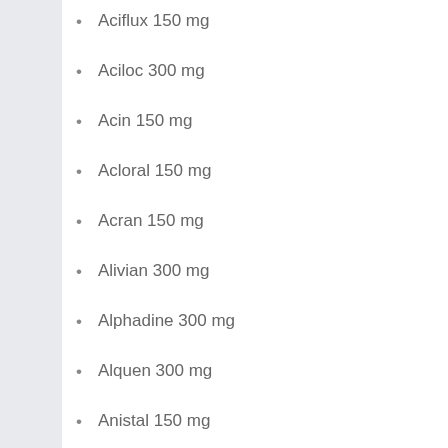Aciflux 150 mg
Aciloc 300 mg
Acin 150 mg
Acloral 150 mg
Acran 150 mg
Alivian 300 mg
Alphadine 300 mg
Alquen 300 mg
Anistal 150 mg
Anitid 300 mg
Use the measuring device that comes with this